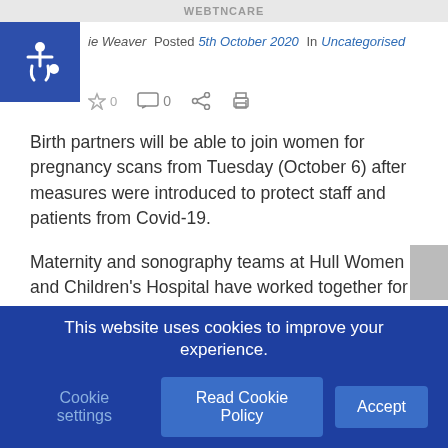WEBTNCARE
ie Weaver  Posted 5th October 2020  In  Uncategorised
Birth partners will be able to join women for pregnancy scans from Tuesday (October 6) after measures were introduced to protect staff and patients from Covid-19.
Maternity and sonography teams at Hull Women and Children's Hospital have worked together for months to find a way for birth partners to attend 20-week scans.
From tomorrow, partners will be able to attend the 20-week
This website uses cookies to improve your experience.